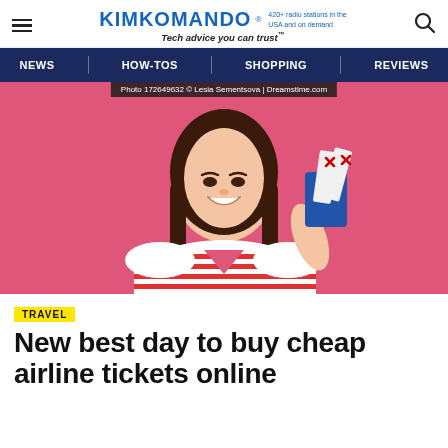KIMKOMANDO® 420+ radio stations in the USA and on demand Tech advice you can trust™
[Figure (infographic): Website navigation bar with dark navy background showing NEWS, HOW-TOS, SHOPPING, REVIEWS menu items]
[Figure (photo): Young woman smiling, holding passport and airline boarding passes with red cross marks, wearing red-striped white shirt, standing against pink background. Photo credit: Photo 172649632 © Lesia Sementsova | Dreamstime.com]
TRAVEL
New best day to buy cheap airline tickets online